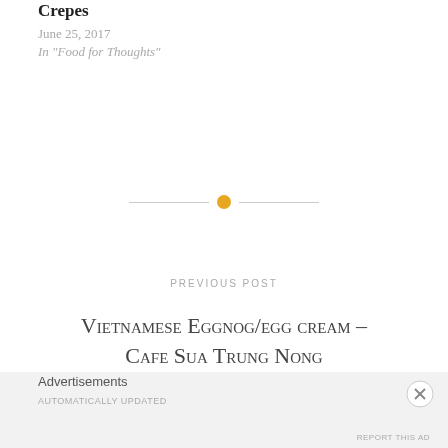Crepes
June 25, 2017
In "Food for Thoughts"
[Figure (other): Horizontal divider with orange circle dot in center]
PREVIOUS POST
Vietnamese Eggnog/egg cream – Cafe Sua Trung Nong
Advertisements